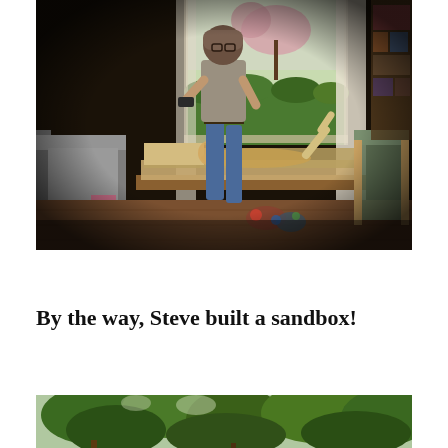[Figure (photo): Indoor scene: an older man standing and looking at a small device/camera, with a child lying on a low bench/daybed near a large window. Outside the window are trees with pink blossoms and green hedges. To the left is a grey sofa, to the right a bookshelf and a green chair. The room has warm wooden floors and natural light coming through the window. Items are scattered on the floor.]
By the way, Steve built a sandbox!
[Figure (photo): Outdoor scene partially visible: trees with green foliage, appearing to be a garden or backyard area. Only the top portion of the image is visible.]